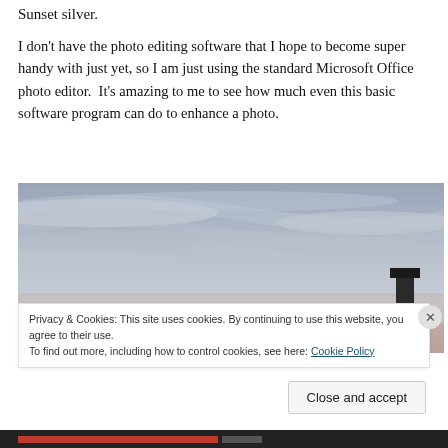Sunset silver.
I don't have the photo editing software that I hope to become super handy with just yet, so I am just using the standard Microsoft Office photo editor.  It's amazing to me to see how much even this basic software program can do to enhance a photo.
[Figure (photo): A wide-angle photo of a dramatic sky with wispy clouds tinted grey and pale blue-pink. In the lower right corner is a dark vertical structure (possibly a chimney or post). Sparse bare tree branches are visible in the lower center.]
Privacy & Cookies: This site uses cookies. By continuing to use this website, you agree to their use.
To find out more, including how to control cookies, see here: Cookie Policy
Close and accept